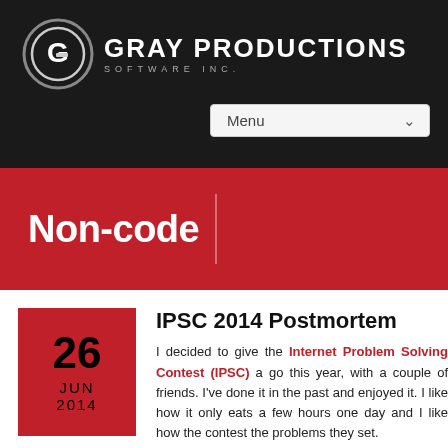Gray Productions Software Inc.
Non-code
IPSC 2014 Postmortem
I decided to give the Internet Problem Solving Contest (IPSC) a go this year, with a couple of friends. I've done it in the past and enjoyed it. I like how it only eats a few hours one day and I like how the contest the problems they set.